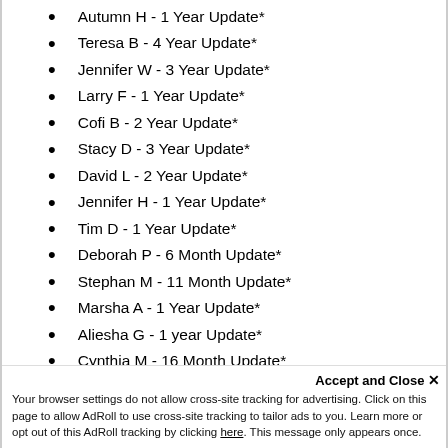Autumn H - 1 Year Update*
Teresa B - 4 Year Update*
Jennifer W - 3 Year Update*
Larry F - 1 Year Update*
Cofi B - 2 Year Update*
Stacy D - 3 Year Update*
David L - 2 Year Update*
Jennifer H - 1 Year Update*
Tim D - 1 Year Update*
Deborah P - 6 Month Update*
Stephan M - 11 Month Update*
Marsha A - 1 Year Update*
Aliesha G - 1 year Update*
Cynthia M - 16 Month Update*
Jaja N - 1 Year Update*
Kimecha M - 2 Year Update*
Accept and Close ✕
Your browser settings do not allow cross-site tracking for advertising. Click on this page to allow AdRoll to use cross-site tracking to tailor ads to you. Learn more or opt out of this AdRoll tracking by clicking here. This message only appears once.